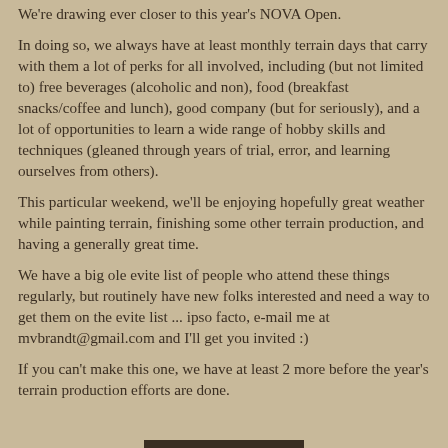We're drawing ever closer to this year's NOVA Open.
In doing so, we always have at least monthly terrain days that carry with them a lot of perks for all involved, including (but not limited to) free beverages (alcoholic and non), food (breakfast snacks/coffee and lunch), good company (but for seriously), and a lot of opportunities to learn a wide range of hobby skills and techniques (gleaned through years of trial, error, and learning ourselves from others).
This particular weekend, we'll be enjoying hopefully great weather while painting terrain, finishing some other terrain production, and having a generally great time.
We have a big ole evite list of people who attend these things regularly, but routinely have new folks interested and need a way to get them on the evite list ... ipso facto, e-mail me at mvbrandt@gmail.com and I'll get you invited :)
If you can't make this one, we have at least 2 more before the year's terrain production efforts are done.